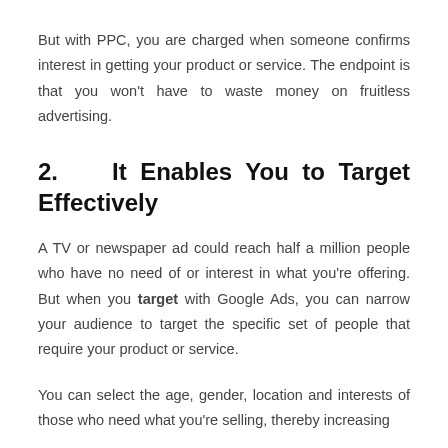But with PPC, you are charged when someone confirms interest in getting your product or service. The endpoint is that you won't have to waste money on fruitless advertising.
2.   It Enables You to Target Effectively
A TV or newspaper ad could reach half a million people who have no need of or interest in what you're offering. But when you target with Google Ads, you can narrow your audience to target the specific set of people that require your product or service.
You can select the age, gender, location and interests of those who need what you're selling, thereby increasing